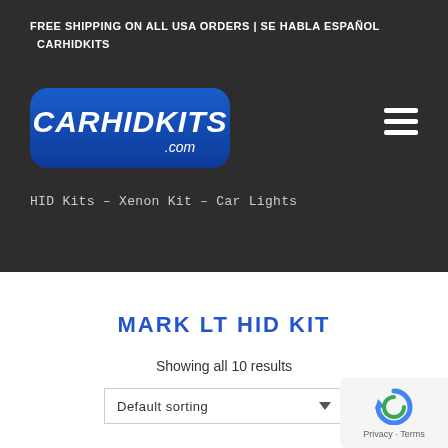FREE SHIPPING ON ALL USA ORDERS | SE HABLA ESPAÑOL
CARHIDKITS
[Figure (logo): CARHIDKITS.com logo — white italic text on blue rounded rectangle background]
HID Kits – Xenon Kit – Car Lights
MARK LT HID KIT
Showing all 10 results
Default sorting